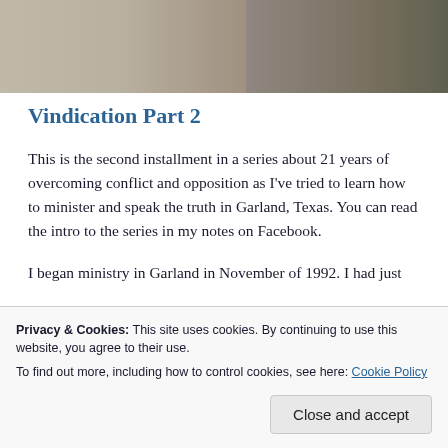[Figure (photo): A photograph showing two people standing, partially cropped. Left side shows a person in a white shirt, right side shows a person in camouflage clothing, with a door and room visible in background.]
Vindication Part 2
This is the second installment in a series about 21 years of overcoming conflict and opposition as I've tried to learn how to minister and speak the truth in Garland, Texas. You can read the intro to the series in my notes on Facebook.
I began ministry in Garland in November of 1992. I had just
Privacy & Cookies: This site uses cookies. By continuing to use this website, you agree to their use.
To find out more, including how to control cookies, see here: Cookie Policy
Close and accept